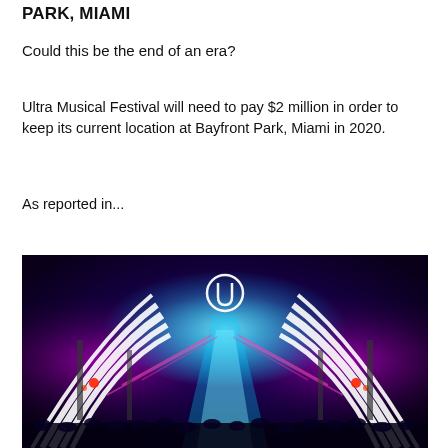PARK, MIAMI
Could this be the end of an era?
Ultra Musical Festival will need to pay $2 million in order to keep its current location at Bayfront Park, Miami in 2020.
As reported in...
[Figure (photo): Photo of Ultra Music Festival stage at night with colorful blue, pink, and purple lighting, large arc-shaped LED displays, and a crowd in the foreground. The Ultra logo (U with circle) is visible at the top center.]